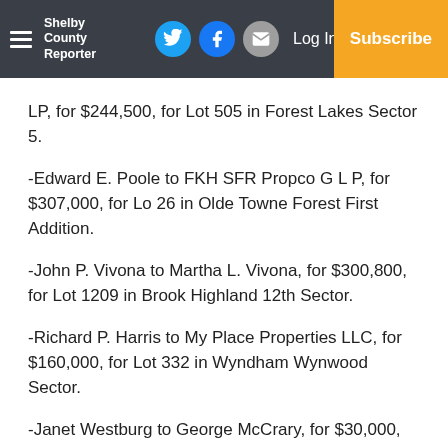Shelby County Reporter | Log In | Subscribe
LP, for $244,500, for Lot 505 in Forest Lakes Sector 5.
-Edward E. Poole to FKH SFR Propco G L P, for $307,000, for Lo 26 in Olde Towne Forest First Addition.
-John P. Vivona to Martha L. Vivona, for $300,800, for Lot 1209 in Brook Highland 12th Sector.
-Richard P. Harris to My Place Properties LLC, for $160,000, for Lot 332 in Wyndham Wynwood Sector.
-Janet Westburg to George McCrary, for $30,000, for property in Section 7, Township 21 South, Range 2